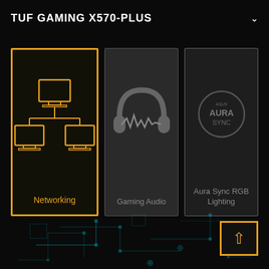TUF GAMING X570-PLUS
[Figure (screenshot): Three feature cards: Networking (active, gold border, network icon), Gaming Audio (headphones icon), Aura Sync RGB Lighting (ASUS Aura Sync logo). Circuit board graphic at bottom. Up-arrow navigation button at bottom right.]